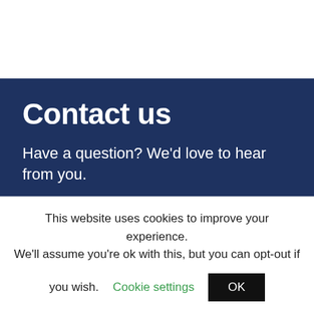Contact us
Have a question? We'd love to hear from you.
United States: Lighty Gadgets, LLC c/o ShipBob, Inc. 5300 Kennedy Rd.
This website uses cookies to improve your experience. We'll assume you're ok with this, but you can opt-out if you wish. Cookie settings OK